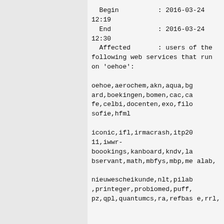Begin          : 2016-03-24  12:19
  End            : 2016-03-24  12:30
  Affected       : users of the following web services that run on 'oehoe':

oehoe,aerochem,akn,aqua,bgard,boekingen,bomen,cac,cafe,celbi,docenten,exo,filosofie,hfml

iconic,ifl,irmacrash,itp2011,iwwr-boookings,kanboard,kndv,labservant,math,mbfys,mbp,mealab,

nieuwescheikunde,nlt,pilab,printeger,probiomed,puff,pz,qpl,quantumcs,ra,refbase,rrl,